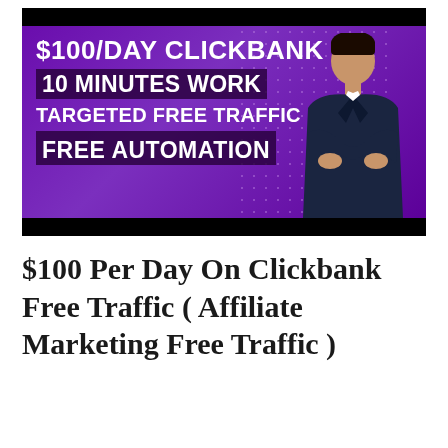[Figure (screenshot): Video thumbnail with purple background showing a man in a dark suit with arms crossed, and bold white text: '$100/DAY CLICKBANK', '10 MINUTES WORK', 'TARGETED FREE TRAFFIC', 'FREE AUTOMATION']
$100 Per Day On Clickbank Free Traffic ( Affiliate Marketing Free Traffic )